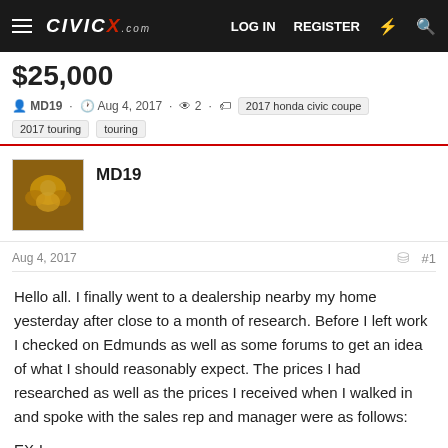CIVICX.com — LOG IN  REGISTER
$25,000
MD19 · Aug 4, 2017 · 2 · 2017 honda civic coupe · 2017 touring · touring
MD19
Aug 4, 2017  #1
Hello all. I finally went to a dealership nearby my home yesterday after close to a month of research. Before I left work I checked on Edmunds as well as some forums to get an idea of what I should reasonably expect. The prices I had researched as well as the prices I received when I walked in and spoke with the sales rep and manager were as follows:
EX-L